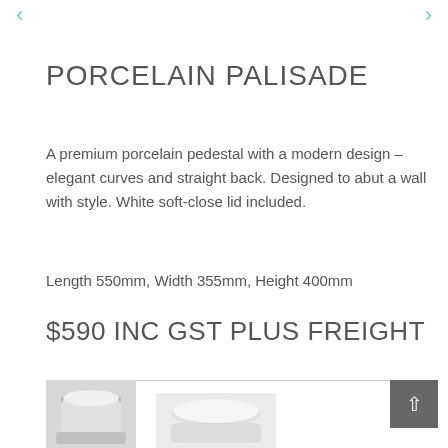PORCELAIN PALISADE
A premium porcelain pedestal with a modern design – elegant curves and straight back. Designed to abut a wall with style. White soft-close lid included.
Length 550mm, Width 355mm, Height 400mm
$590 INC GST PLUS FREIGHT
[Figure (photo): Product photos of the Porcelain Palisade toilet, showing pedestal and lid from different angles]